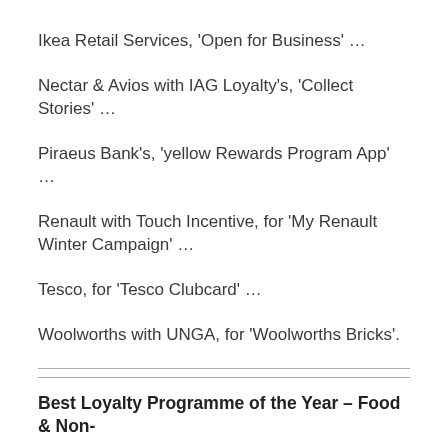Ikea Retail Services, 'Open for Business' …
Nectar & Avios with IAG Loyalty's, 'Collect Stories' …
Piraeus Bank's, 'yellow Rewards Program App' …
Renault with Touch Incentive, for 'My Renault Winter Campaign' …
Tesco, for 'Tesco Clubcard' …
Woolworths with UNGA, for 'Woolworths Bricks'.
Best Loyalty Programme of the Year – Food & Non-